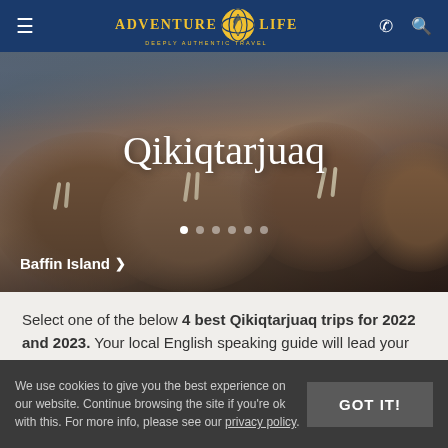[Figure (screenshot): Adventure Life website navigation bar with hamburger menu, Adventure Life logo with globe icon, phone icon, and search icon on dark blue background]
[Figure (photo): Hero image of walruses crowded together on a beach, with the title 'Qikiqtarjuaq' overlaid in white serif font and 'Baffin Island >' breadcrumb link at bottom left]
Qikiqtarjuaq
Baffin Island >
Select one of the below 4 best Qikiqtarjuaq trips for 2022 and 2023. Your local English speaking guide will lead your small group or personalized private tour on an extraordinary adventure exploring Qikiqtarjuaq. Our amazing Qikiqtarjuaq trips for 2022 feature wildlife viewing, small ship cruises,
We use cookies to give you the best experience on our website. Continue browsing the site if you're ok with this. For more info, please see our privacy policy.